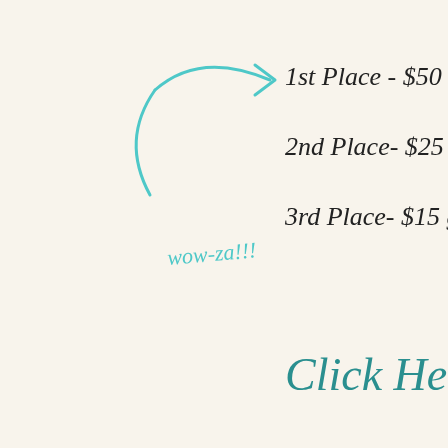[Figure (illustration): Handwritten-style text on cream background showing prize list: '1st Place - $50 gift certifica...', '2nd Place- $25 gift certifica...', '3rd Place- $15 gift certifica...' with a teal/cyan hand-drawn arrow pointing right and 'wow-za!!!' annotation in teal. Below prizes is a teal cursive 'Click Here' text.]
Categories: Uncategorized | 4 Comments »
Customer Creations: Rosalie R...
BY ADMIN
[Figure (illustration): Pink banner at the bottom of the page with cursive white text reading 'Customer Creations' (partially visible).]